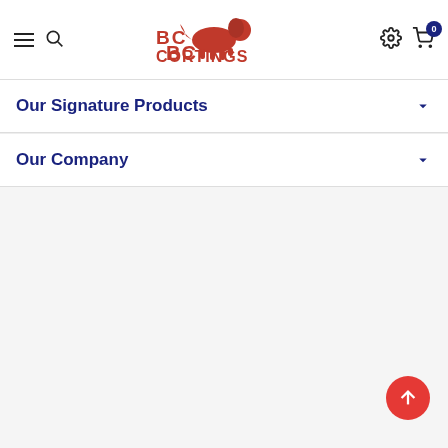[Figure (logo): BC Cortings logo with red lion and bold red block letters]
Our Signature Products
Our Company